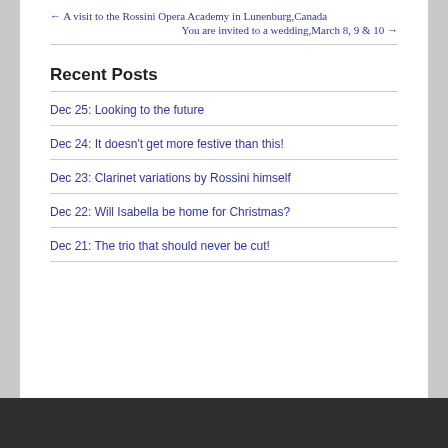← A visit to the Rossini Opera Academy in Lunenburg,Canada
You are invited to a wedding,March 8, 9 & 10 →
Recent Posts
Dec 25: Looking to the future
Dec 24: It doesn't get more festive than this!
Dec 23: Clarinet variations by Rossini himself
Dec 22: Will Isabella be home for Christmas?
Dec 21: The trio that should never be cut!